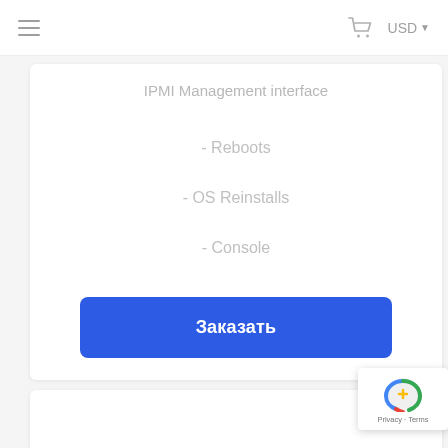USD
IPMI Management interface
- Reboots
- OS Reinstalls
- Console
Заказать